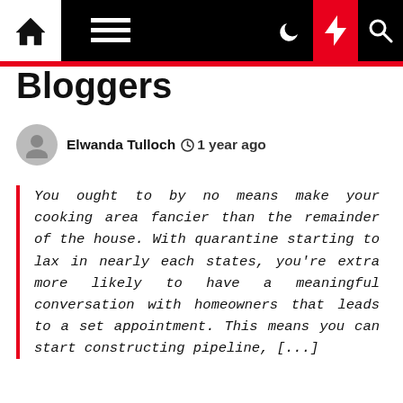Navigation bar with home, menu, moon, bolt, and search icons
Bloggers
Elwanda Tulloch  1 year ago
You ought to by no means make your cooking area fancier than the remainder of the house. With quarantine starting to lax in nearly each states, you're extra more likely to have a meaningful conversation with homeowners that leads to a set appointment. This means you can start constructing pipeline, [...]
You ought to by no means make your cooking area fancier than the remainder of the house. With quarantine starting to lax in nearly each states, you're extra more likely to have a meaningful conversation with homeowners that leads to a set appointment